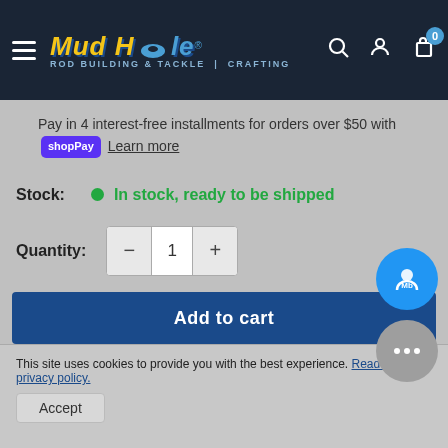[Figure (screenshot): Mud Hole Rod Building & Tackle | Crafting website navigation bar with logo, menu icon, search, account, and cart icons on dark navy background]
Pay in 4 interest-free installments for orders over $50 with shopPay Learn more
Stock:  • In stock, ready to be shipped
Quantity: − 1 +
Add to cart
This site uses cookies to provide you with the best experience. Read our privacy policy.
Accept